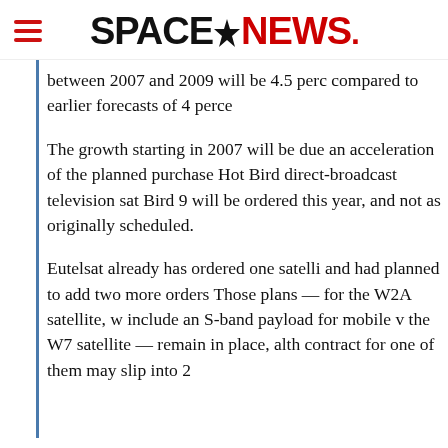SPACENEWS
between 2007 and 2009 will be 4.5 perc compared to earlier forecasts of 4 perce
The growth starting in 2007 will be due an acceleration of the planned purchase Hot Bird direct-broadcast television sat Bird 9 will be ordered this year, and not as originally scheduled.
Eutelsat already has ordered one satelli and had planned to add two more orders Those plans — for the W2A satellite, w include an S-band payload for mobile v the W7 satellite — remain in place, alth contract for one of them may slip into 2